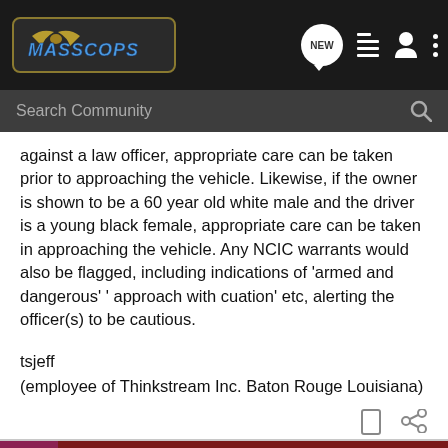MASSCOPS — Search Community navigation bar
against a law officer, appropriate care can be taken prior to approaching the vehicle. Likewise, if the owner is shown to be a 60 year old white male and the driver is a young black female, appropriate care can be taken in approaching the vehicle. Any NCIC warrants would also be flagged, including indications of 'armed and dangerous' ' approach with cuation' etc, alerting the officer(s) to be cautious.
tsjeff
(employee of Thinkstream Inc. Baton Rouge Louisiana)
[Figure (screenshot): Cabela's Bargain Cave Hunting Clearance advertisement banner with Shop Now button]